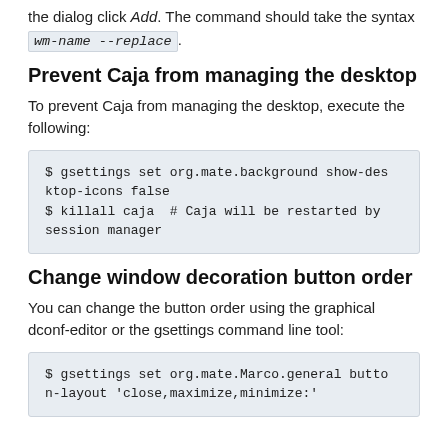the dialog click Add. The command should take the syntax wm-name --replace.
Prevent Caja from managing the desktop
To prevent Caja from managing the desktop, execute the following:
$ gsettings set org.mate.background show-desktop-icons false
$ killall caja  # Caja will be restarted by session manager
Change window decoration button order
You can change the button order using the graphical dconf-editor or the gsettings command line tool:
$ gsettings set org.mate.Marco.general button-layout 'close,maximize,minimize:'